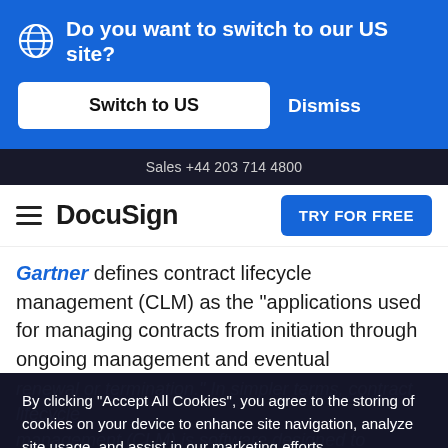Do you want to switch to our US site?
Switch to US
Dismiss
Sales +44 203 714 4800
DocuSign
TRY FOR FREE
Gartner defines contract lifecycle management (CLM) as the "applications used for managing contracts from initiation through ongoing management and eventual
renewal or termination." In simpler terms, contract lifecycle management (CLM) is software designed to prepare contracts are often and eventual
By clicking "Accept All Cookies", you agree to the storing of cookies on your device to enhance site navigation, analyze site usage, and assist in our marketing efforts.
Contracts are used in every department and industry—by